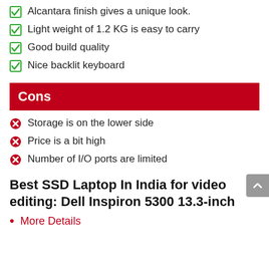Alcantara finish gives a unique look.
Light weight of 1.2 KG is easy to carry
Good build quality
Nice backlit keyboard
Cons
Storage is on the lower side
Price is a bit high
Number of I/O ports are limited
Best SSD Laptop In India for video editing: Dell Inspiron 5300 13.3-inch
More Details